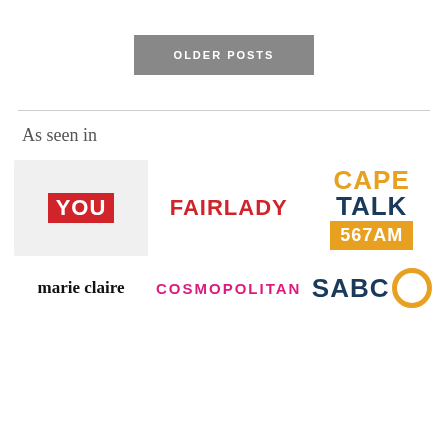OLDER POSTS
As seen in
[Figure (logo): YOU magazine logo — white text on red background]
[Figure (logo): FAIRLADY magazine logo in red text]
[Figure (logo): Cape Talk 567AM radio logo — CAPE in yellow, TALK in dark blue, 567AM on yellow bar]
[Figure (logo): marie claire magazine logo in black serif text]
[Figure (logo): COSMOPOLITAN magazine logo in hot pink text]
[Figure (logo): SABC logo in dark blue with yellow circle mark]